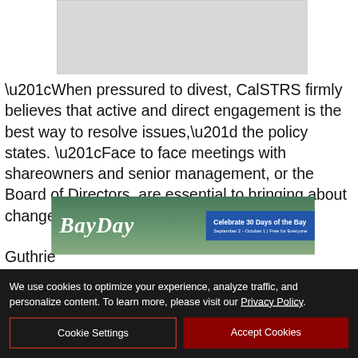[Figure (other): Gray placeholder rectangle for an advertisement at top of page]
“When pressured to divest, CalSTRS firmly believes that active and direct engagement is the best way to resolve issues,” the policy states. “Face to face meetings with shareowners and senior management, or the Board of Directors, are essential to bringing about change in a corporate
[Figure (other): BayDay advertisement banner showing kayaker on bay with text: Celebrate 30 Days of the Bay, September 2 - October 1 | Free for Everyone]
Guthrie… standing… about
We use cookies to optimize your experience, analyze traffic, and personalize content. To learn more, please visit our Privacy Policy.
Cookie Settings
Accept Cookies